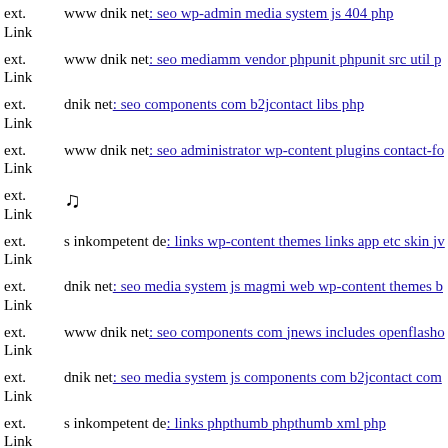ext. Link www dnik net: seo wp-admin media system js 404 php
ext. Link www dnik net: seo mediamm vendor phpunit phpunit src util p
ext. Link dnik net: seo components com b2jcontact libs php
ext. Link www dnik net: seo administrator wp-content plugins contact-fo
ext. Link [music note]
ext. Link s inkompetent de: links wp-content themes links app etc skin jv
ext. Link dnik net: seo media system js magmi web wp-content themes b
ext. Link www dnik net: seo components com jnews includes openflasho
ext. Link dnik net: seo media system js components com b2jcontact com
ext. Link s inkompetent de: links phpthumb phpthumb xml php
ext. Link dnik net: seo components com alphauserpoints assets
ext. Link ...